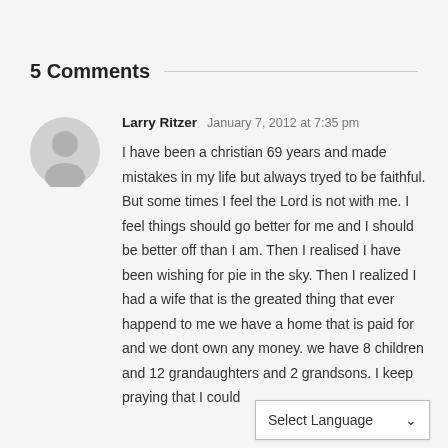5 Comments
Larry Ritzer  January 7, 2012 at 7:35 pm
I have been a christian 69 years and made mistakes in my life but always tryed to be faithful. But some times I feel the Lord is not with me. I feel things should go better for me and I should be better off than I am. Then I realised I have been wishing for pie in the sky. Then I realized I had a wife that is the greated thing that ever happend to me we have a home that is paid for and we dont own any money. we have 8 children and 12 grandaughters and 2 grandsons. I keep praying that I could
Select Language